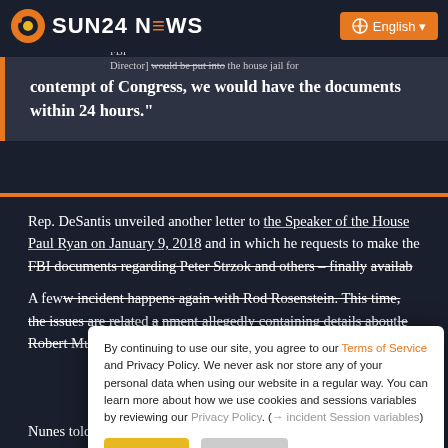SUN24 NEWS
were in contempt of court. The court, the judge would And here is what I predict: if they [Deputy AG, FBI Director] would be put into the house jail for
contempt of Congress, we would have the documents within 24 hours."
Rep. DeSantis unveiled another letter to the Speaker of the House Paul Ryan on January 9, 2018 and in which he requests to make the FBI documents regarding Peter Strzok and others – finally available
A few incident happens again with Rod Rosenstein. This time, the issues are related to a document allegedly containing details about the Robert Mueller's Special Counsel
By continuing to use our site, you agree to our Terms of Service and Privacy Policy. We never ask nor store any of your personal data when using our website in a regular way. You can learn more about how we use cookies and sessions variables by reviewing our Privacy Policy. (→ incident Session variables)
Nunes told the press on April 10, 2018: